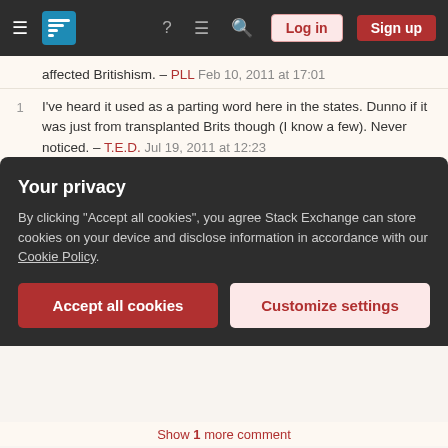[Figure (screenshot): Stack Exchange navigation bar with hamburger menu, logo, icons for help, chat, search, and Log in / Sign up buttons]
affected Britishism. – PLL Feb 10, 2011 at 17:01
1  I've heard it used as a parting word here in the states. Dunno if it was just from transplanted Brits though (I know a few). Never noticed. – T.E.D. Jul 19, 2011 at 12:23
1  I've heard it used as "goodbye", but not "thanks" (until I started watching Misfits). Recently, my husband asked me about an email from a colleague that ended in "cheers". He was actually offended by it for some reason. I asked if the sender was from the UK, he said yes, and I explained it was "normal". So many may not be aware, as your answer states. (We are in NYC, by the way — not some backwater.) – user24205 Jul 29, 2012 at 4:18
Your privacy
By clicking "Accept all cookies", you agree Stack Exchange can store cookies on your device and disclose information in accordance with our Cookie Policy.
Accept all cookies  Customize settings
Show 1 more comment